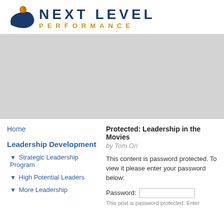[Figure (logo): Next Level Performance logo with abstract figure and swoosh in blue, orange/gold sphere, and company name in dark blue with 'PERFORMANCE' in gold spaced letters below]
[Figure (photo): Gray placeholder banner image]
Home
Leadership Development
▼ Strategic Leadership Program
▼ High Potential Leaders
▼ More Leadership...
Protected: Leadership in the Movies
by Tom Ori
This content is password protected. To view it please enter your password below:
Password:
This post is password protected. Enter